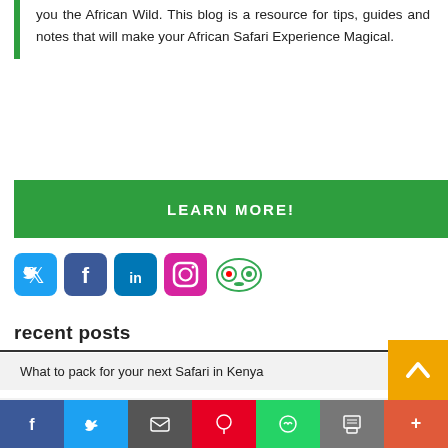you the African Wild. This blog is a resource for tips, guides and notes that will make your African Safari Experience Magical.
LEARN MORE!
[Figure (infographic): Row of social media icons: Twitter (blue), Facebook (dark blue), LinkedIn (blue), Instagram (pink), TripAdvisor (green outline)]
recent posts
What to pack for your next Safari in Kenya
Kenya COVID 19 frequently asked questions
The experience of a tailor made Kenya safari
[Figure (infographic): Bottom share bar with Facebook, Twitter, Email, Pinterest, WhatsApp, Print, More buttons]